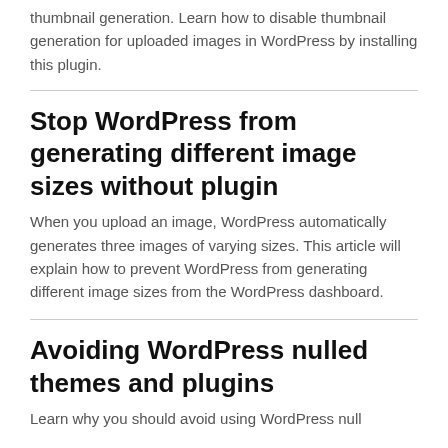thumbnail generation. Learn how to disable thumbnail generation for uploaded images in WordPress by installing this plugin.
Stop WordPress from generating different image sizes without plugin
When you upload an image, WordPress automatically generates three images of varying sizes. This article will explain how to prevent WordPress from generating different image sizes from the WordPress dashboard.
Avoiding WordPress nulled themes and plugins
Learn why you should avoid using WordPress null